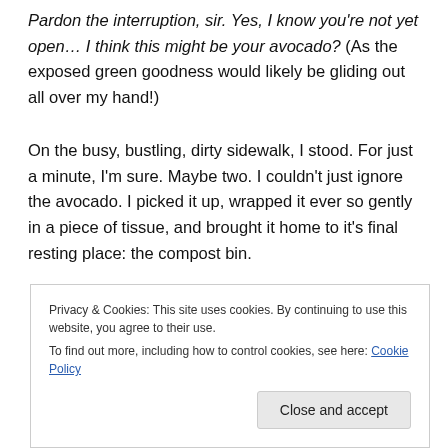Pardon the interruption, sir. Yes, I know you're not yet open… I think this might be your avocado? (As the exposed green goodness would likely be gliding out all over my hand!)
On the busy, bustling, dirty sidewalk, I stood. For just a minute, I'm sure. Maybe two. I couldn't just ignore the avocado. I picked it up, wrapped it ever so gently in a piece of tissue, and brought it home to it's final resting place: the compost bin.
Privacy & Cookies: This site uses cookies. By continuing to use this website, you agree to their use.
To find out more, including how to control cookies, see here: Cookie Policy